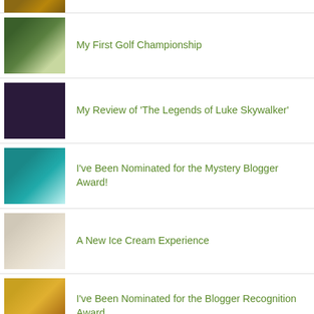(partial top item — cropped)
My First Golf Championship
My Review of 'The Legends of Luke Skywalker'
I've Been Nominated for the Mystery Blogger Award!
A New Ice Cream Experience
I've Been Nominated for the Blogger Recognition Award
I'm Taking a Break
I Have Been Nominated for the Blogger Recognition Award for the Second Time
Who's Your Favorite 'Star Wars' Heroine?